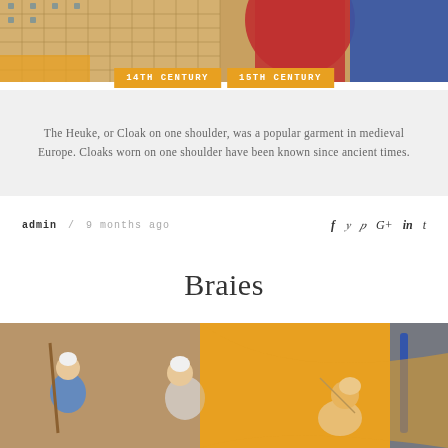[Figure (illustration): Partial medieval illustration showing figures in colorful medieval garments (red, blue, yellow) on a tiled background]
14TH CENTURY   15TH CENTURY
The Heuke, or Cloak on one shoulder, was a popular garment in medieval Europe. Cloaks worn on one shoulder have been known since ancient times.
admin / 9 months ago
Braies
[Figure (illustration): Medieval manuscript illustration showing men in white garments (braies) with one holding a staff, against brown and yellow background]